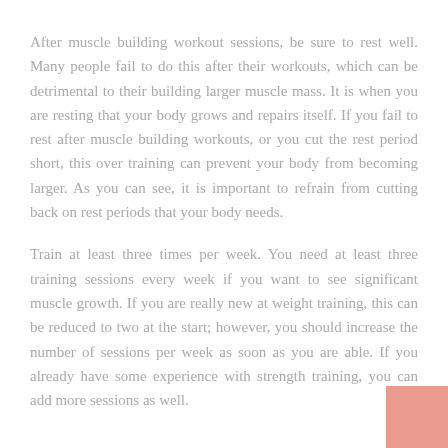After muscle building workout sessions, be sure to rest well. Many people fail to do this after their workouts, which can be detrimental to their building larger muscle mass. It is when you are resting that your body grows and repairs itself. If you fail to rest after muscle building workouts, or you cut the rest period short, this over training can prevent your body from becoming larger. As you can see, it is important to refrain from cutting back on rest periods that your body needs.
Train at least three times per week. You need at least three training sessions every week if you want to see significant muscle growth. If you are really new at weight training, this can be reduced to two at the start; however, you should increase the number of sessions per week as soon as you are able. If you already have some experience with strength training, you can add more sessions as well.